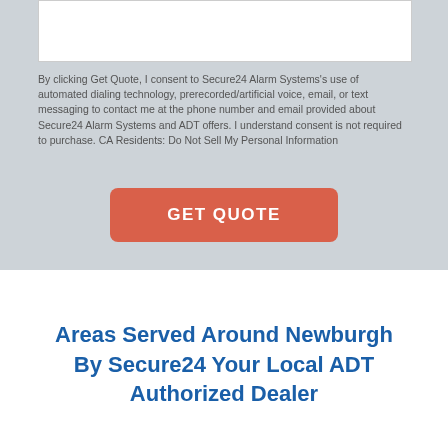[Figure (screenshot): White input form box (partial, cropped at top)]
By clicking Get Quote, I consent to Secure24 Alarm Systems's use of automated dialing technology, prerecorded/artificial voice, email, or text messaging to contact me at the phone number and email provided about Secure24 Alarm Systems and ADT offers. I understand consent is not required to purchase. CA Residents: Do Not Sell My Personal Information
[Figure (other): GET QUOTE button — red/orange rounded rectangle with white uppercase text]
Areas Served Around Newburgh By Secure24 Your Local ADT Authorized Dealer